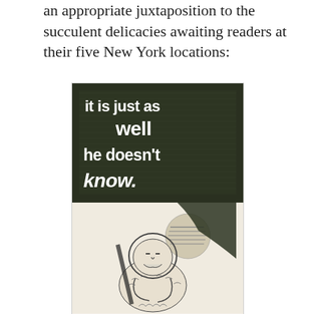an appropriate juxtaposition to the succulent delicacies awaiting readers at their five New York locations:
[Figure (illustration): Vintage advertisement illustration featuring bold white text on dark background reading 'it is just as well he doesn't know' above a drawing of an Eskimo/Inuit figure in fur clothing beside a smoky fire, with bottom text reading 'WHEN he steals away from the Icicles and Walruses, he has no place to go. So he sits beside his smoky fire and on a piece of Blubber he gnaws. Ren...']